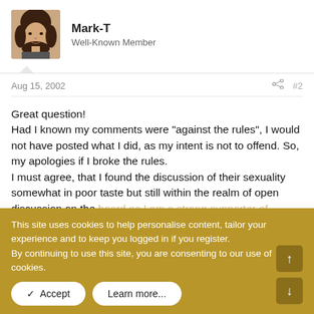[Figure (photo): Avatar photo of forum user Mark-T, showing a person with dark curly hair, sepia/brown tones]
Mark-T
Well-Known Member
Aug 15, 2002
#2
Great question!
Had I known my comments were "against the rules", I would not have posted what I did, as my intent is not to offend. So, my apologies if I broke the rules.
I must agree, that I found the discussion of their sexuality somewhat in poor taste but still within the realm of open discussion on the board as I am a strong supporter of freedom of speech. I hope neither topics become off limits to us, as long as things remain civil and respectful of others views among posters.
We've had to change a few server modules to alleviate forum errors we've been having. Work is mostly done but there may still be a few remaining errors if you encounter any further problems.
This site uses cookies to help personalise content, tailor your experience and to keep you logged in if you register.
By continuing to use this site, you are consenting to our use of cookies.